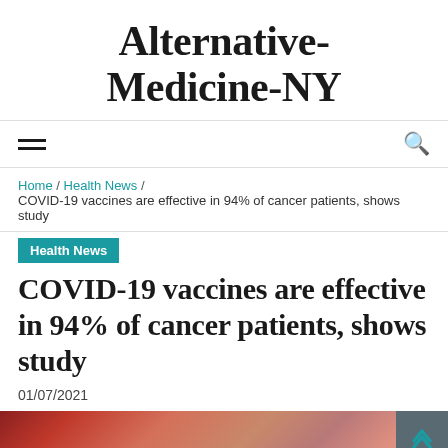Alternative-Medicine-NY
Navigation bar with hamburger menu and search icon
Home / Health News / COVID-19 vaccines are effective in 94% of cancer patients, shows study
Health News
COVID-19 vaccines are effective in 94% of cancer patients, shows study
01/07/2021
[Figure (photo): Close-up medical/biological image, appears to show cancer cells or biological tissue in red and pink tones]